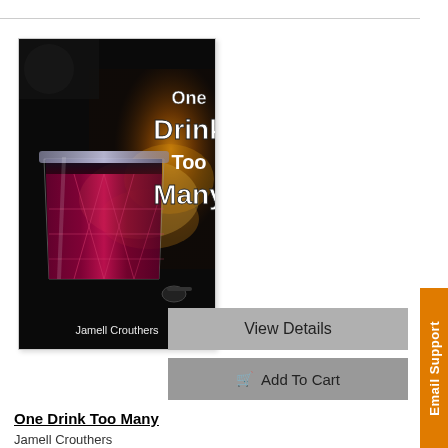[Figure (illustration): Book cover for 'One Drink Too Many' by Jamell Crouthers. Shows a dark atmospheric image with a crystal whiskey glass filled with dark red liquid in the foreground, with a fiery explosion in the background and what appears to be car/motorcycle elements. White bold text reads 'One Drink Too Many' and author name 'Jamell Crouthers' at the bottom.]
View Details
Add To Cart
One Drink Too Many
Jamell Crouthers